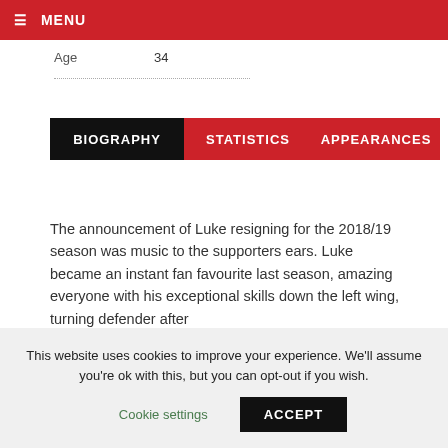≡ MENU
| Age | 34 |
BIOGRAPHY   STATISTICS   APPEARANCES
The announcement of Luke resigning for the 2018/19 season was music to the supporters ears. Luke became an instant fan favourite last season, amazing everyone with his exceptional skills down the left wing, turning defender after
This website uses cookies to improve your experience. We'll assume you're ok with this, but you can opt-out if you wish. Cookie settings  ACCEPT